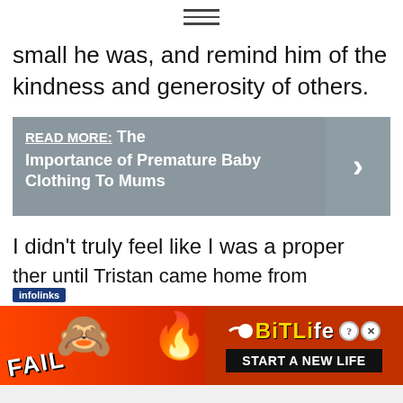≡ (hamburger navigation icon)
small he was, and remind him of the kindness and generosity of others.
READ MORE:  The Importance of Premature Baby Clothing To Mums
I didn't truly feel like I was a proper [fa]ther until Tristan came home from
[Figure (other): Advertisement banner: BitLife game ad showing 'FAIL' text, cartoon girl facepalm emoji, flame emoji, sperm icon, BitLife logo in gold, and 'START A NEW LIFE' button on dark background]
infolinks